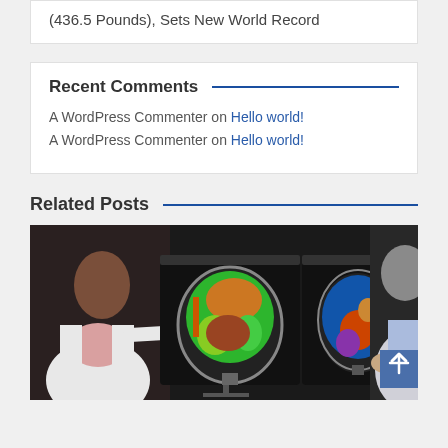(436.5 Pounds), Sets New World Record
Recent Comments
A WordPress Commenter on Hello world!
A WordPress Commenter on Hello world!
Related Posts
[Figure (photo): Two medical professionals in white lab coats examining colorized brain MRI scans on dual monitors. One doctor points at the left monitor showing a green/orange heatmap of the brain. The right monitor shows a blue/orange brain scan.]